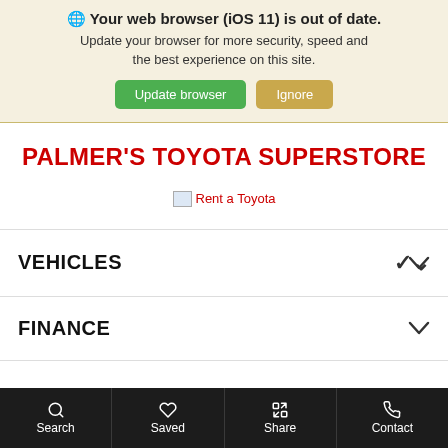🌐 Your web browser (iOS 11) is out of date. Update your browser for more security, speed and the best experience on this site.
Update browser | Ignore
PALMER'S TOYOTA SUPERSTORE
[Figure (other): Broken image placeholder with alt text 'Rent a Toyota']
VEHICLES
FINANCE
Search | Saved | Share | Contact